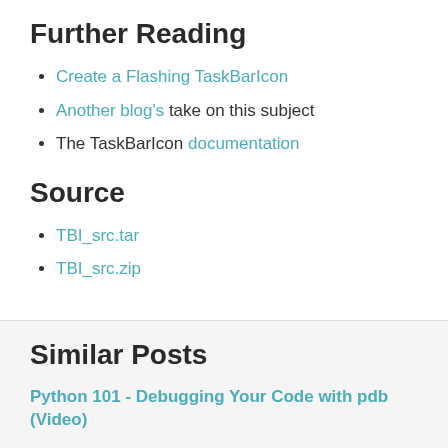Further Reading
Create a Flashing TaskBarIcon
Another blog's take on this subject
The TaskBarIcon documentation
Source
TBI_src.tar
TBI_src.zip
Similar Posts
Python 101 - Debugging Your Code with pdb (Video)